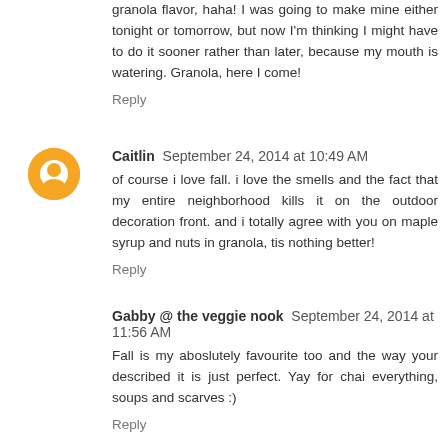granola flavor, haha! I was going to make mine either tonight or tomorrow, but now I'm thinking I might have to do it sooner rather than later, because my mouth is watering. Granola, here I come!
Reply
Caitlin  September 24, 2014 at 10:49 AM
of course i love fall. i love the smells and the fact that my entire neighborhood kills it on the outdoor decoration front. and i totally agree with you on maple syrup and nuts in granola, tis nothing better!
Reply
Gabby @ the veggie nook  September 24, 2014 at 11:56 AM
Fall is my aboslutely favourite too and the way your described it is just perfect. Yay for chai everything, soups and scarves :)
Reply